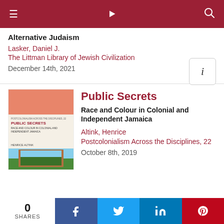☰ ) 🔍
Alternative Judaism
Lasker, Daniel J.
The Littman Library of Jewish Civilization
December 14th, 2021
Public Secrets
Race and Colour in Colonial and Independent Jamaica
Altink, Henrice
Postcolonialism Across the Disciplines, 22
October 8th, 2019
0 SHARES  f  t  in  p